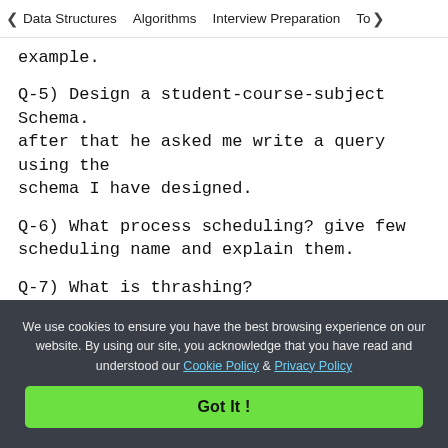< Data Structures   Algorithms   Interview Preparation   To>
example.
Q-5) Design a student-course-subject Schema. after that he asked me write a query using the schema I have designed.
Q-6) What process scheduling? give few scheduling name and explain them.
Q-7) What is thrashing?
Q-8) He asked me for my preferred language between java and python. why it is?
We use cookies to ensure you have the best browsing experience on our website. By using our site, you acknowledge that you have read and understood our Cookie Policy & Privacy Policy
Got It !